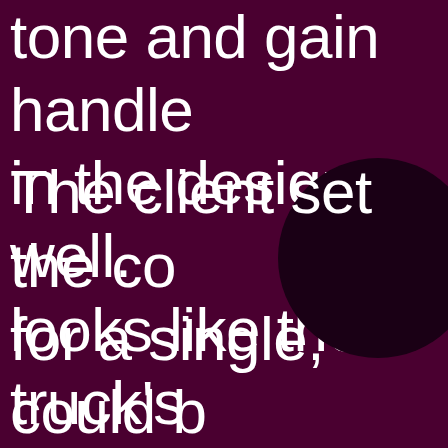tone and gain handle in the design as well. looks like the truck's
[Figure (illustration): A dark nearly black circle on a deep burgundy/maroon background, positioned in the lower right area of the page.]
The client set the cos for a single, could b